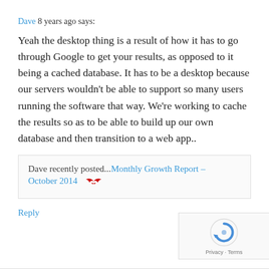Dave 8 years ago says:
Yeah the desktop thing is a result of how it has to go through Google to get your results, as opposed to it being a cached database. It has to be a desktop because our servers wouldn't be able to support so many users running the software that way. We're working to cache the results so as to be able to build up our own database and then transition to a web app..
Dave recently posted...Monthly Growth Report – October 2014
Reply
[Figure (logo): Google reCAPTCHA badge with circular arrow icon in blue, showing Privacy and Terms text]